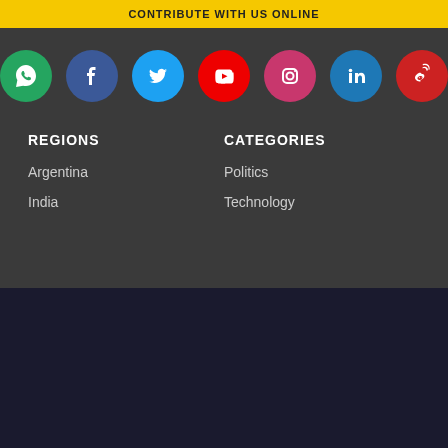[Figure (screenshot): Yellow navigation bar at top of page]
[Figure (infographic): Row of social media icons: WhatsApp (green), Facebook (blue), Twitter (cyan), YouTube (red), Instagram (pink), LinkedIn (blue), Weibo (red)]
REGIONS
CATEGORIES
Argentina
Politics
India
Technology
CONTRIBUTE WITH US
Your contribution allows us to offer the various contents without cost
I WANT TO CONTRIBUTE